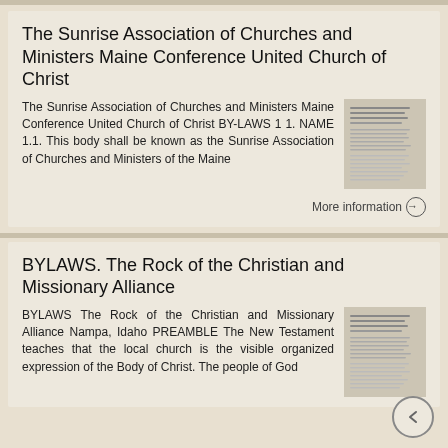The Sunrise Association of Churches and Ministers Maine Conference United Church of Christ
The Sunrise Association of Churches and Ministers Maine Conference United Church of Christ BY-LAWS 1 1. NAME 1.1. This body shall be known as the Sunrise Association of Churches and Ministers of the Maine
BYLAWS. The Rock of the Christian and Missionary Alliance
BYLAWS The Rock of the Christian and Missionary Alliance Nampa, Idaho PREAMBLE The New Testament teaches that the local church is the visible organized expression of the Body of Christ. The people of God